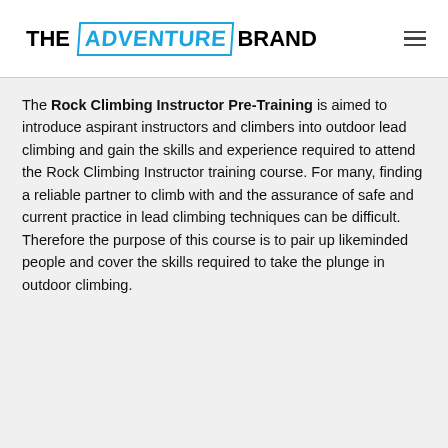THE ADVENTURE BRAND
The Rock Climbing Instructor Pre-Training is aimed to introduce aspirant instructors and climbers into outdoor lead climbing and gain the skills and experience required to attend the Rock Climbing Instructor training course. For many, finding a reliable partner to climb with and the assurance of safe and current practice in lead climbing techniques can be difficult. Therefore the purpose of this course is to pair up likeminded people and cover the skills required to take the plunge in outdoor climbing.